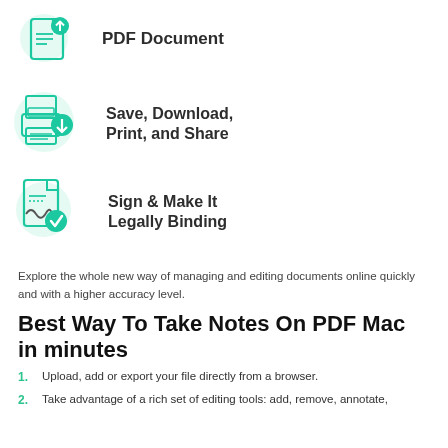[Figure (illustration): Icon of a PDF document with an upload arrow and teal circle badge, labeled 'PDF Document']
[Figure (illustration): Icon of a printer with a download arrow and teal circle badge, labeled 'Save, Download, Print, and Share']
[Figure (illustration): Icon of a document with a signature and teal checkmark badge, labeled 'Sign & Make It Legally Binding']
Explore the whole new way of managing and editing documents online quickly and with a higher accuracy level.
Best Way To Take Notes On PDF Mac in minutes
Upload, add or export your file directly from a browser.
Take advantage of a rich set of editing tools: add, remove, annotate,